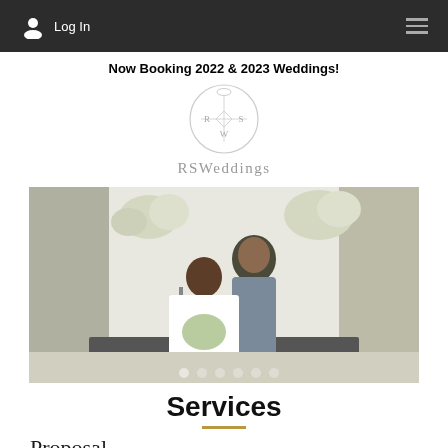Log In
Now Booking 2022 & 2023 Weddings!
[Figure (logo): RSWeddings circular logo with letters R, S, W arranged in a cross pattern inside a circle, with a small ring/crown at top]
RSWeddings
[Figure (photo): Wedding couple portrait: bride in white ballgown holding a bouquet, groom in grey suit, standing in front of a white draped backdrop with floral arrangements and candelabras]
Services
Proposal